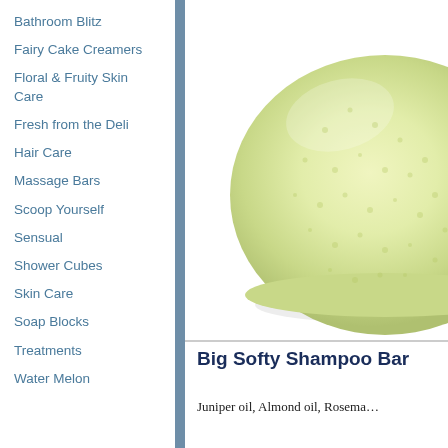Bathroom Blitz
Fairy Cake Creamers
Floral & Fruity Skin Care
Fresh from the Deli
Hair Care
Massage Bars
Scoop Yourself
Sensual
Shower Cubes
Skin Care
Soap Blocks
Treatments
Water Melon
[Figure (photo): A dome-shaped yellow-green shampoo bar with a textured surface, photographed on a white background.]
Big Softy Shampoo Bar
Juniper oil, Almond oil, Rosema…